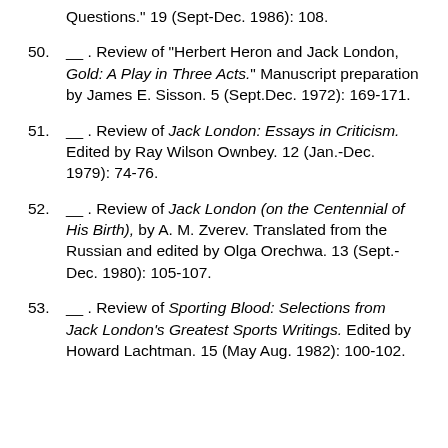Questions." 19 (Sept-Dec. 1986): 108.
50. __ . Review of "Herbert Heron and Jack London, Gold: A Play in Three Acts." Manuscript preparation by James E. Sisson. 5 (Sept.Dec. 1972): 169-171.
51. __ . Review of Jack London: Essays in Criticism. Edited by Ray Wilson Ownbey. 12 (Jan.-Dec. 1979): 74-76.
52. __ . Review of Jack London (on the Centennial of His Birth), by A. M. Zverev. Translated from the Russian and edited by Olga Orechwa. 13 (Sept.-Dec. 1980): 105-107.
53. __ . Review of Sporting Blood: Selections from Jack London's Greatest Sports Writings. Edited by Howard Lachtman. 15 (May Aug. 1982): 100-102.